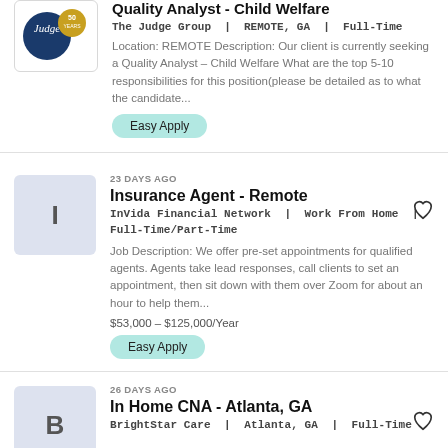[Figure (logo): The Judge Group 50th anniversary logo]
Quality Analyst - Child Welfare
The Judge Group | REMOTE, GA | Full-Time
Location: REMOTE Description: Our client is currently seeking a Quality Analyst - Child Welfare What are the top 5-10 responsibilities for this position(please be detailed as to what the candidate...
Easy Apply
[Figure (logo): InVida Financial Network logo placeholder letter I on blue-grey background]
23 DAYS AGO
Insurance Agent - Remote
InVida Financial Network | Work From Home | Full-Time/Part-Time
Job Description: We offer pre-set appointments for qualified agents. Agents take lead responses, call clients to set an appointment, then sit down with them over Zoom for about an hour to help them...
$53,000 - $125,000/Year
Easy Apply
[Figure (logo): BrightStar Care logo placeholder letter B on blue-grey background]
26 DAYS AGO
In Home CNA - Atlanta, GA
BrightStar Care | Atlanta, GA | Full-Time